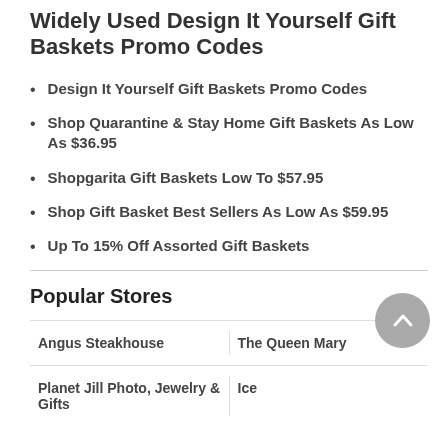Widely Used Design It Yourself Gift Baskets Promo Codes
Design It Yourself Gift Baskets Promo Codes
Shop Quarantine & Stay Home Gift Baskets As Low As $36.95
Shopgarita Gift Baskets Low To $57.95
Shop Gift Basket Best Sellers As Low As $59.95
Up To 15% Off Assorted Gift Baskets
Popular Stores
Angus Steakhouse
The Queen Mary
Planet Jill Photo, Jewelry & Gifts
Ice